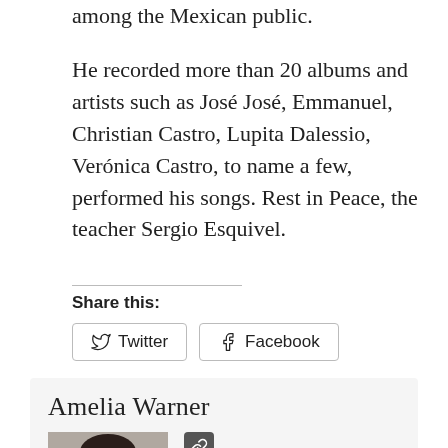among the Mexican public.
He recorded more than 20 albums and artists such as José José, Emmanuel, Christian Castro, Lupita Dalessio, Verónica Castro, to name a few, performed his songs. Rest in Peace, the teacher Sergio Esquivel.
Share this:
[Figure (other): Twitter share button and Facebook share button]
Amelia Warner
[Figure (photo): Author photo of Amelia Warner, a woman with dark hair]
Amelia Warner– After graduating from NYU with a master's degree in history, She was also a